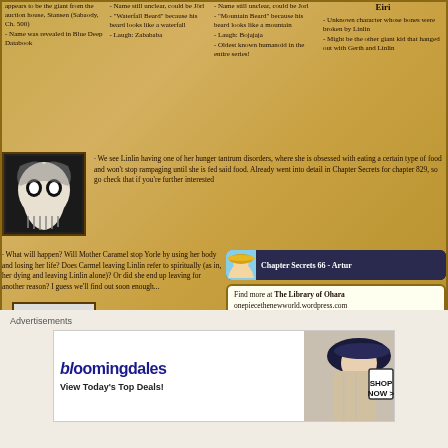appears to be the giant from the auction house, Stansen (Sabaody, Ch. 500) - Name was revealed in Blue Deep Databook
- Name still unclear, could be Jörl - "Waterfall Beard" because his beard looks like a waterfall - Laugh: Zabababa
- Name still unclear, could be Jorl - "Mountain Beard" because his beard looks like a mountain - Laugh: Bojajaja - Oldest known humanoid in the entire series!
Eiri
- Unknown character whose bones were broken by Linlin - Might be the other giant kid that hanged out with Gerth and Linlin
[Figure (illustration): Black and white manga panel of a grinning skull-like character]
· We see Linlin having one of her hunger tantrum disorders, where she is obsessed with eating a certain type of food and won't stop rampaging until she is fed said food. Already went into detail in Chapter Secrets for chapter 829, so go check that if you're further interested
· What will happen? Will Mother Caramel stop Yorle by using her body and losing her life? Does Carmel leaving Linlin refer to spiritually (as in, her dying and leaving Linlin alone)? Or did she end up leaving for another reason? I guess we'll find out soon enough...
[Figure (illustration): Manga portrait avatar with straw hat, Chapter Secrets 66 - Artur label]
Chapter Secrets 66 - Artur
Find more at The Library of Ohara
onepiecethenewworld.wordpress.com
[Figure (illustration): Black and white manga panel of an angry elderly woman character]
Advertisements
[Figure (photo): Bloomingdale's advertisement with woman in hat. Shop Now button. View Today's Top Deals!]